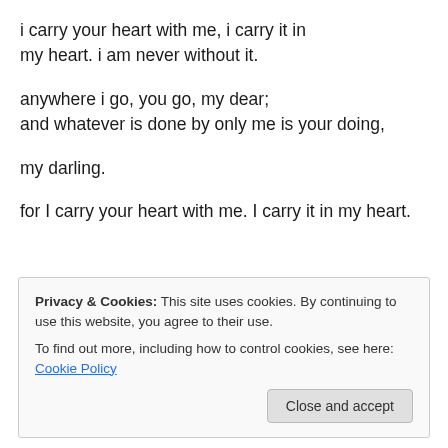i carry your heart with me, i carry it in
my heart. i am never without it.

anywhere i go, you go, my dear;
and whatever is done by only me is your doing,

my darling.

for I carry your heart with me. I carry it in my heart.
Privacy & Cookies: This site uses cookies. By continuing to use this website, you agree to their use.
To find out more, including how to control cookies, see here: Cookie Policy
Close and accept